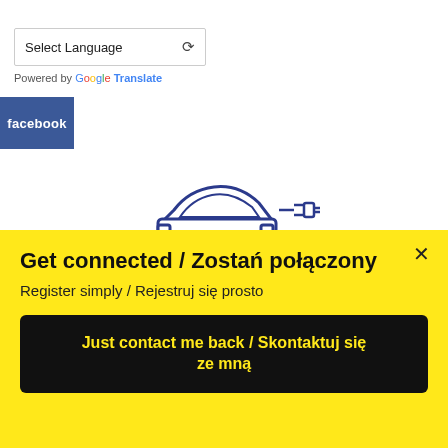Select Language
Powered by Google Translate
[Figure (logo): Facebook badge with white text on blue background]
[Figure (logo): Electric car / GMM logo illustration in blue and yellow]
Get connected / Zostań połączony
Register simply / Rejestruj się prosto
Just contact me back / Skontaktuj się ze mną